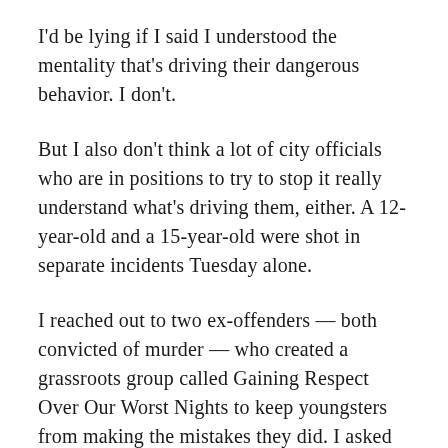I'd be lying if I said I understood the mentality that's driving their dangerous behavior. I don't.
But I also don't think a lot of city officials who are in positions to try to stop it really understand what's driving them, either. A 12-year-old and a 15-year-old were shot in separate incidents Tuesday alone.
I reached out to two ex-offenders — both convicted of murder — who created a grassroots group called Gaining Respect Over Our Worst Nights to keep youngsters from making the mistakes they did. I asked GROWN cofounder Donnell Drinks what he thinks is going on with the young men who are driving up the city's